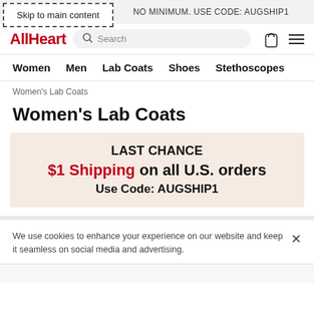Skip to main content
NO MINIMUM. USE CODE: AUGSHIP1
[Figure (logo): AllHeart logo in red bold text with search bar and cart/menu icons]
Women | Men | Lab Coats | Shoes | Stethoscopes
Women's Lab Coats
Women's Lab Coats
LAST CHANCE
$1 Shipping on all U.S. orders
Use Code: AUGSHIP1
We use cookies to enhance your experience on our website and keep it seamless on social media and advertising.